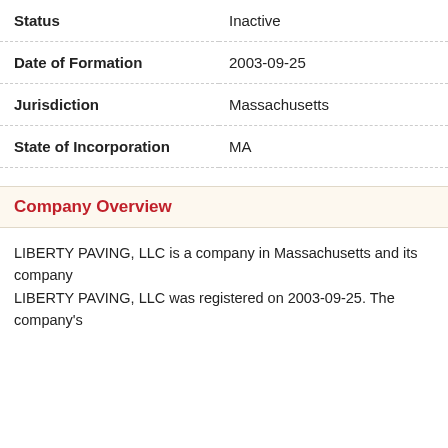| Status | Inactive |
| Date of Formation | 2003-09-25 |
| Jurisdiction | Massachusetts |
| State of Incorporation | MA |
Company Overview
LIBERTY PAVING, LLC is a company in Massachusetts and its company LIBERTY PAVING, LLC was registered on 2003-09-25. The company's